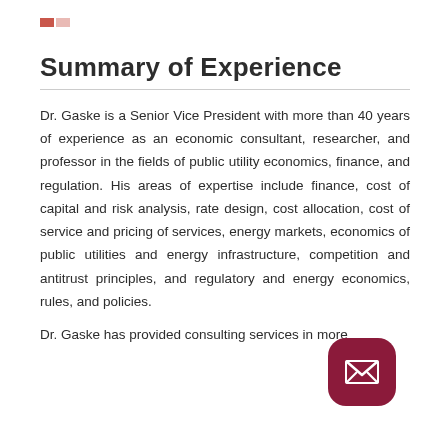Summary of Experience
Dr. Gaske is a Senior Vice President with more than 40 years of experience as an economic consultant, researcher, and professor in the fields of public utility economics, finance, and regulation. His areas of expertise include finance, cost of capital and risk analysis, rate design, cost allocation, cost of service and pricing of services, energy markets, economics of public utilities and energy infrastructure, competition and antitrust principles, and regulatory and energy economics, rules, and policies.
Dr. Gaske has provided consulting services in more